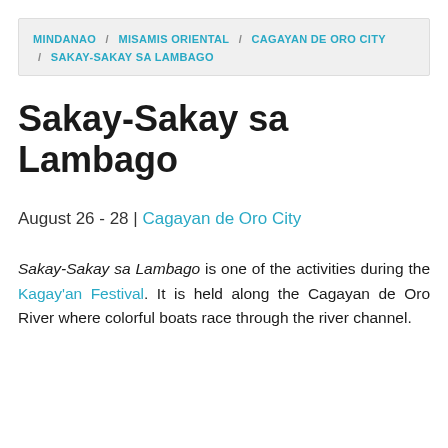MINDANAO / MISAMIS ORIENTAL / CAGAYAN DE ORO CITY / SAKAY-SAKAY SA LAMBAGO
Sakay-Sakay sa Lambago
August 26 - 28 | Cagayan de Oro City
Sakay-Sakay sa Lambago is one of the activities during the Kagay'an Festival. It is held along the Cagayan de Oro River where colorful boats race through the river channel.